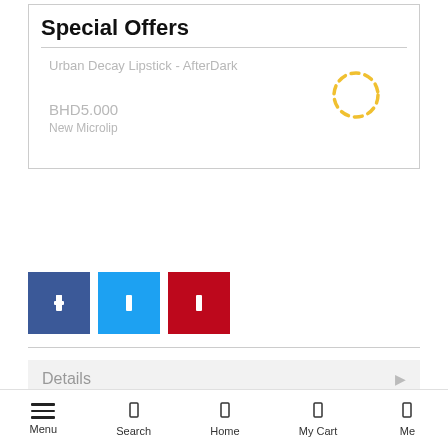Special Offers
Urban Decay Lipstick - AfterDark
BHD5.000
New Microlip
[Figure (other): Loading spinner — dashed yellow circle indicating content loading]
[Figure (other): Three social media share buttons: Facebook (blue), Twitter (light blue), Pinterest (red), each with a white icon]
Details
More Information
Menu   Search   Home   My Cart   Me